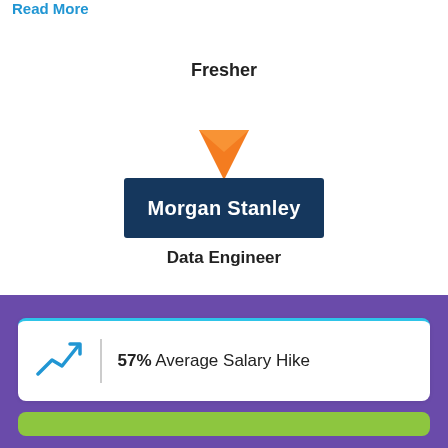Read More
Fresher
[Figure (illustration): Orange downward-pointing arrow/triangle indicating transition from Fresher to Morgan Stanley role]
[Figure (logo): Morgan Stanley logo — white text on dark navy blue background]
Data Engineer
[Figure (infographic): White card with cyan top border showing blue upward trending arrow icon and text: 57% Average Salary Hike]
57% Average Salary Hike